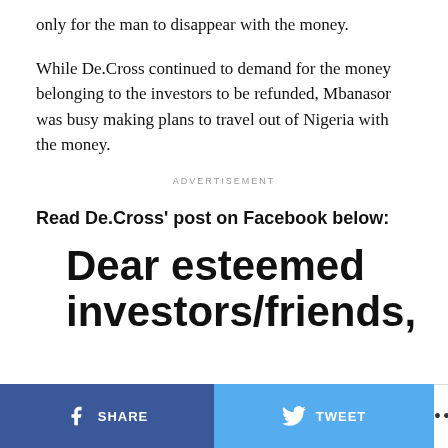only for the man to disappear with the money.
While De.Cross continued to demand for the money belonging to the investors to be refunded, Mbanasor was busy making plans to travel out of Nigeria with the money.
ADVERTISEMENT
Read De.Cross' post on Facebook below:
Dear esteemed investors/friends,
SHARE   TWEET   ...